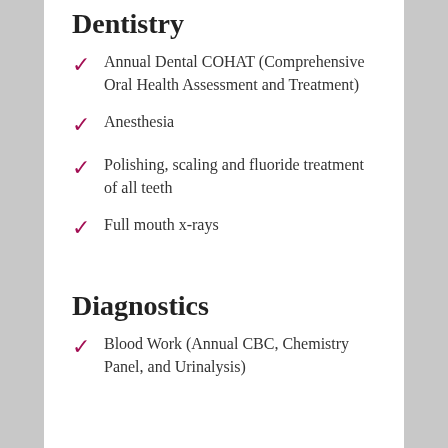Dentistry
Annual Dental COHAT (Comprehensive Oral Health Assessment and Treatment)
Anesthesia
Polishing, scaling and fluoride treatment of all teeth
Full mouth x-rays
Diagnostics
Blood Work (Annual CBC, Chemistry Panel, and Urinalysis)